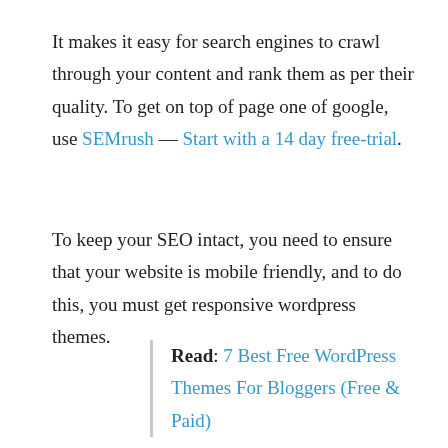It makes it easy for search engines to crawl through your content and rank them as per their quality. To get on top of page one of google, use SEMrush — Start with a 14 day free-trial.
To keep your SEO intact, you need to ensure that your website is mobile friendly, and to do this, you must get responsive wordpress themes.
Read: 7 Best Free WordPress Themes For Bloggers (Free & Paid)